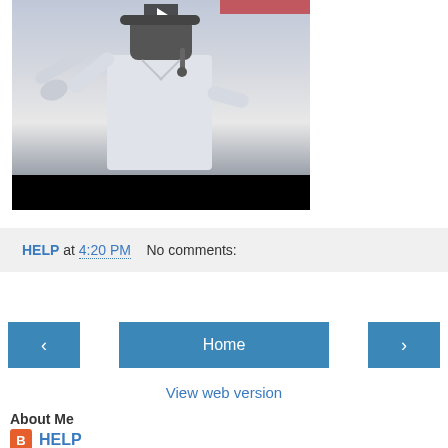[Figure (screenshot): Video thumbnail showing a person in a white coat wearing a headset, with a play button at the top and a black bar at the bottom]
HELP at 4:20 PM    No comments:
[Figure (other): Navigation buttons: left arrow, Home, right arrow]
View web version
About Me
HELP
Mumbai, Maharashtra, India
World's largest free patient education resource center Please do come and visit HELP ! Our focus areas now are: 1. encouraging health insurance companies to invest in patient education 2. advocating information therapy 3. setting up a national network of